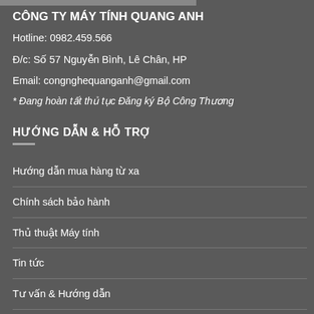CÔNG TY MÁY TÍNH QUANG ANH
Hotline: 0982.459.566
Đ/c: Số 57 Nguyễn Bình, Lê Chân, HP
Email: congnghequanganh@gmail.com
* Đang hoàn tất thủ tục Đăng ký Bộ Công Thương
HƯỚNG DẪN & HỖ TRỢ
Hướng dẫn mua hàng từ xa
Chính sách bảo hành
Thủ thuật Máy tính
Tin tức
Tư vấn & Hướng dẫn